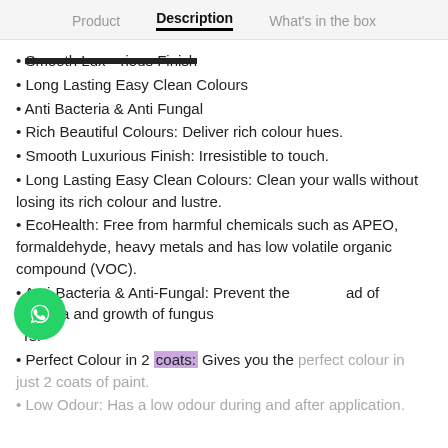Product | Description | What's in the box
Smooth Luxurious Finish
Long Lasting Easy Clean Colours
Anti Bacteria & Anti Fungal
Rich Beautiful Colours: Deliver rich colour hues.
Smooth Luxurious Finish: Irresistible to touch.
Long Lasting Easy Clean Colours: Clean your walls without losing its rich colour and lustre.
EcoHealth: Free from harmful chemicals such as APEO, formaldehyde, heavy metals and has low volatile organic compound (VOC).
Anti-Bacteria & Anti-Fungal: Prevent the spread of bacteria and growth of fungus spores.
Perfect Colour in 2 coats: Gives you the perfect colour in just 2 coats of paint.
Low Odour: Has a low odour during and after application.